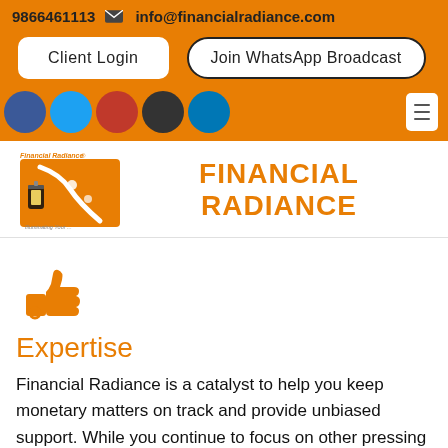9866461113  info@financialradiance.com
Client Login
Join WhatsApp Broadcast
[Figure (logo): Financial Radiance logo with lantern and winding road on orange background]
FINANCIAL RADIANCE
[Figure (illustration): Orange thumbs up icon]
Expertise
Financial Radiance is a catalyst to help you keep monetary matters on track and provide unbiased support. While you continue to focus on other pressing